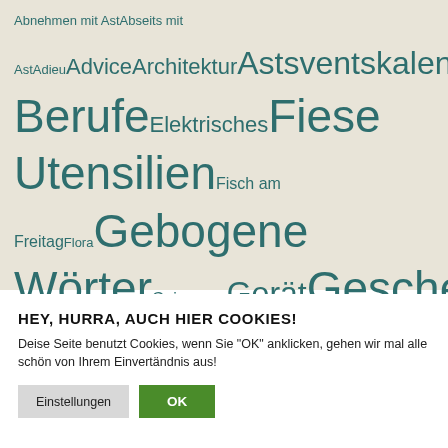[Figure (infographic): Tag cloud with German category words in various sizes, teal/dark green color on beige background. Words include: Abnehmen mit Ast, Abseits mit Ast, Adieu, Advice, Architektur, Astsventskalender, Ausstellung, Automobil, Bastelage, Befindlichkeit, Business, Einsame Berufe, Elektrisches, Fiese Utensilien, Fisch am Freitag, Flora, Gebogene Wörter, Gejammer, Gerät, Gescheitertes, Gescheitertes Design, Glotze, Hühner, inktober, Jahrestage, Kassenklassiker, Kinners, Kintopp, Kulinarisches, Kunst, Landschaft, Literatur, Madam et Müsjö, Mode, Monster, Musik, Obst, Philosophie, Portrait, Sommergemüse, Sport, Tierchen, Urlaub, Veranstaltung, Wetter]
HEY, HURRA, AUCH HIER COOKIES!
Deise Seite benutzt Cookies, wenn Sie "OK" anklicken, gehen wir mal alle schön von Ihrem Einvertändnis aus!
Einstellungen
OK